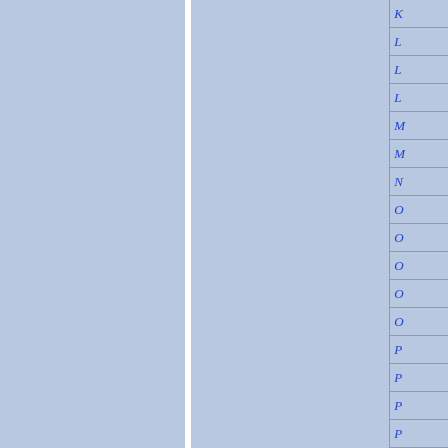[Figure (other): Page layout with two blue-gray column panels separated by a white vertical divider, and a right-side navigation index panel with italic blue letter labels: K, L, L, L, M, M, N, O, O, O, O, O, P, P, P, P]
K
L
L
L
M
M
N
O
O
O
O
O
P
P
P
P